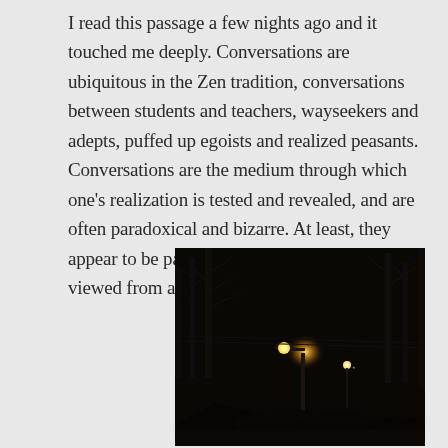I read this passage a few nights ago and it touched me deeply. Conversations are ubiquitous in the Zen tradition, conversations between students and teachers, wayseekers and adepts, puffed up egoists and realized peasants. Conversations are the medium through which one's realization is tested and revealed, and are often paradoxical and bizarre. At least, they appear to be paradoxical and bizarre when viewed from a particular paradigm.
[Figure (photo): A dark nighttime street scene showing bare tree silhouettes against a black sky, with a bright yellow street lamp glowing on a pole in the middle distance, and dim rooftop silhouettes visible at the bottom.]